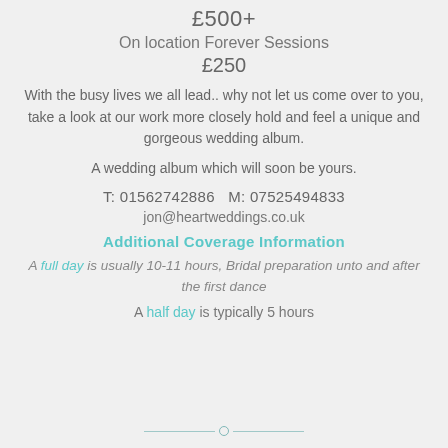£500+
On location Forever Sessions
£250
With the busy lives we all lead.. why not let us come over to you, take a look at our work more closely hold and feel a unique and gorgeous wedding album.
A wedding album which will soon be yours.
T: 01562742886   M: 07525494833
jon@heartweddings.co.uk
Additional Coverage Information
A full day is usually 10-11 hours, Bridal preparation unto and after the first dance
A half day is typically 5 hours